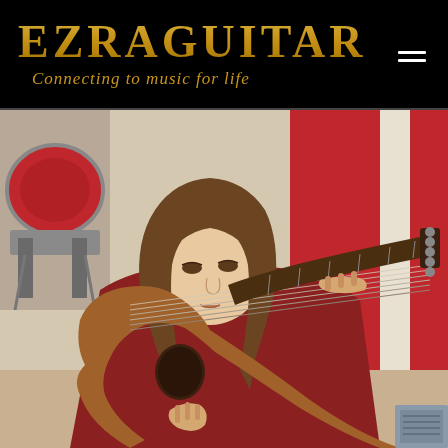EZRAGUITAR — Connecting to music for life
[Figure (photo): A young girl with shoulder-length brown hair, wearing a dark red long-sleeve shirt, looking down and playing a classical nylon-string guitar. In the background there is a red and white wall and a drum kit partially visible on the left side.]